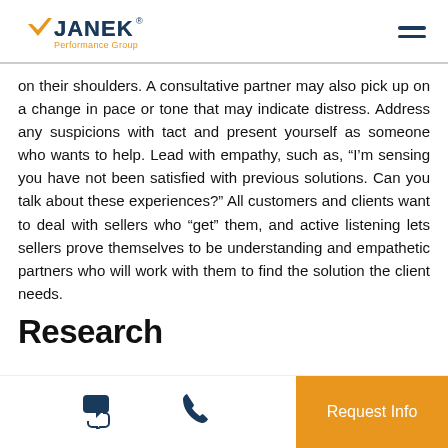JANEK Performance Group
on their shoulders. A consultative partner may also pick up on a change in pace or tone that may indicate distress. Address any suspicions with tact and present yourself as someone who wants to help. Lead with empathy, such as, “I’m sensing you have not been satisfied with previous solutions. Can you talk about these experiences?” All customers and clients want to deal with sellers who “get” them, and active listening lets sellers prove themselves to be understanding and empathetic partners who will work with them to find the solution the client needs.
Research
Request Info